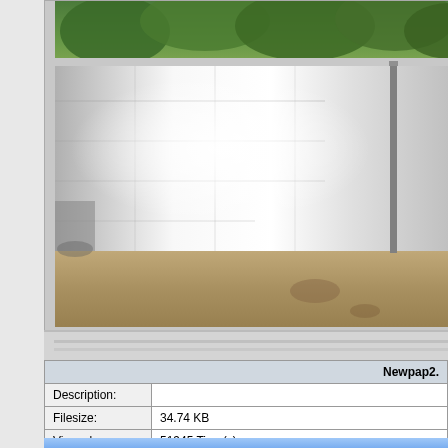[Figure (photo): Photograph of a concrete block wall with trees visible above it and sandy ground below. A metal pole is visible on the right side. Bright overexposed lighting in center of wall.]
|  | Newpap2. |
| --- | --- |
| Description: |  |
| Filesize: | 34.74 KB |
| Viewed: | 51945 Time(s) |